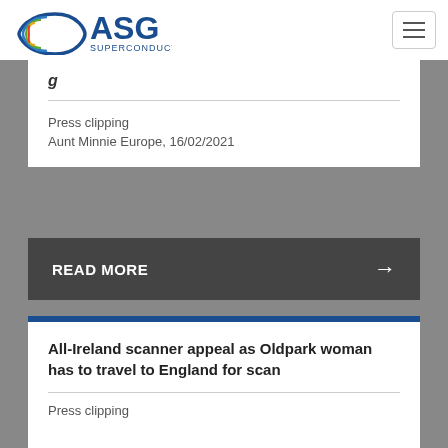[Figure (logo): ASG Superconductors logo with colorful arc symbol and blue text]
Press clipping
Aunt Minnie Europe, 16/02/2021
READ MORE →
All-Ireland scanner appeal as Oldpark woman has to travel to England for scan
Press clipping